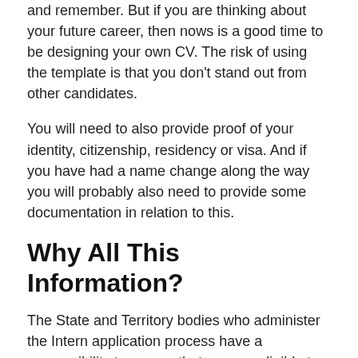and remember. But if you are thinking about your future career, then nows is a good time to be designing your own CV. The risk of using the template is that you don't stand out from other candidates.
You will need to also provide proof of your identity, citizenship, residency or visa. And if you have had a name change along the way you will probably also need to provide some documentation in relation to this.
Why All This Information?
The State and Territory bodies who administer the Intern application process have a responsibility to ensure that you are eligible to work before issuing